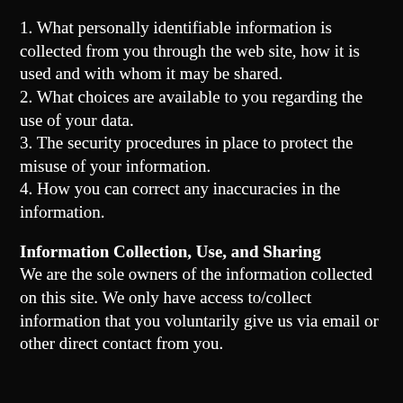1. What personally identifiable information is collected from you through the web site, how it is used and with whom it may be shared.
2. What choices are available to you regarding the use of your data.
3. The security procedures in place to protect the misuse of your information.
4. How you can correct any inaccuracies in the information.
Information Collection, Use, and Sharing
We are the sole owners of the information collected on this site. We only have access to/collect information that you voluntarily give us via email or other direct contact from you.